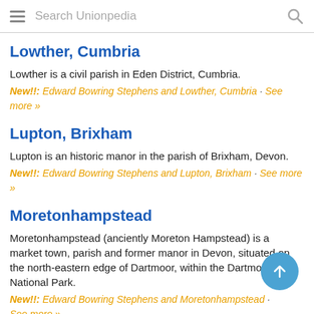Search Unionpedia
Lowther, Cumbria
Lowther is a civil parish in Eden District, Cumbria.
New!!: Edward Bowring Stephens and Lowther, Cumbria · See more »
Lupton, Brixham
Lupton is an historic manor in the parish of Brixham, Devon.
New!!: Edward Bowring Stephens and Lupton, Brixham · See more »
Moretonhampstead
Moretonhampstead (anciently Moreton Hampstead) is a market town, parish and former manor in Devon, situated on the north-eastern edge of Dartmoor, within the Dartmoor National Park.
New!!: Edward Bowring Stephens and Moretonhampstead · See more »
National Trust for Places of Historic